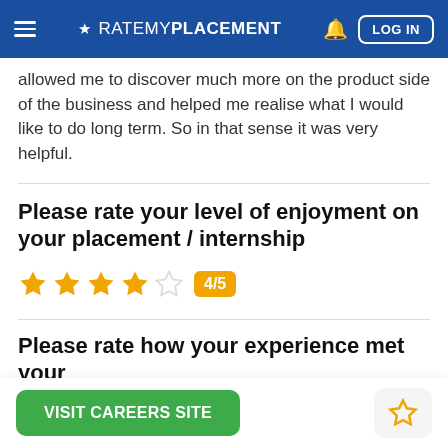RATEMYPLACEMENT — LOG IN
allowed me to discover much more on the product side of the business and helped me realise what I would like to do long term. So in that sense it was very helpful.
Please rate your level of enjoyment on your placement / internship
4/5
Please rate how your experience met your
VISIT CAREERS SITE